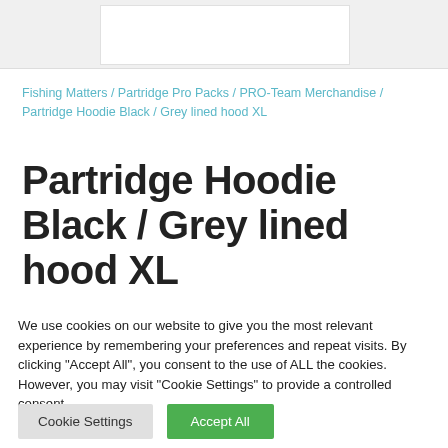[Figure (other): Top image/banner area with white box on grey background]
Fishing Matters / Partridge Pro Packs / PRO-Team Merchandise / Partridge Hoodie Black / Grey lined hood XL
Partridge Hoodie Black / Grey lined hood XL
We use cookies on our website to give you the most relevant experience by remembering your preferences and repeat visits. By clicking "Accept All", you consent to the use of ALL the cookies. However, you may visit "Cookie Settings" to provide a controlled consent.
Cookie Settings | Accept All